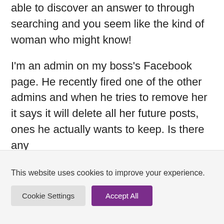able to discover an answer to through searching and you seem like the kind of woman who might know!
I'm an admin on my boss's Facebook page. He recently fired one of the other admins and when he tries to remove her it says it will delete all her future posts, ones he actually wants to keep. Is there any
This website uses cookies to improve your experience.
Cookie Settings
Accept All